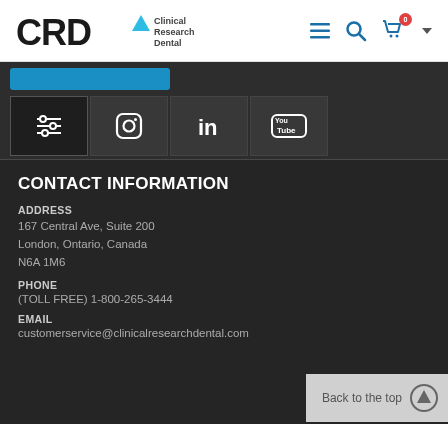CRD Clinical Research Dental
[Figure (logo): CRD Clinical Research Dental logo with triangle icon]
[Figure (screenshot): Navigation icons: hamburger menu, search, cart (0 badge), dropdown arrow in blue]
[Figure (screenshot): Blue button, social media icons (filter/settings, Instagram, LinkedIn, YouTube)]
CONTACT INFORMATION
ADDRESS
167 Central Ave, Suite 200
London, Ontario, Canada
N6A 1M6
PHONE
(TOLL FREE) 1-800-265-3444
EMAIL
customerservice@clinicalresearchdental.com
Back to the top